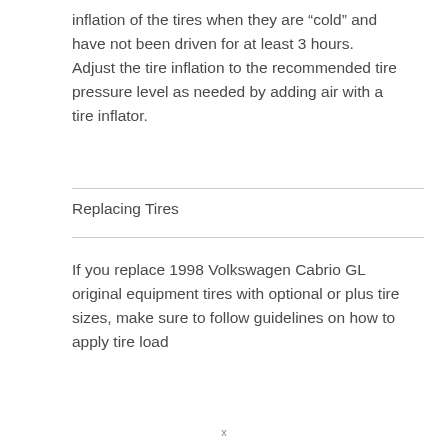inflation of the tires when they are “cold” and have not been driven for at least 3 hours. Adjust the tire inflation to the recommended tire pressure level as needed by adding air with a tire inflator.
Replacing Tires
If you replace 1998 Volkswagen Cabrio GL original equipment tires with optional or plus tire sizes, make sure to follow guidelines on how to apply tire load